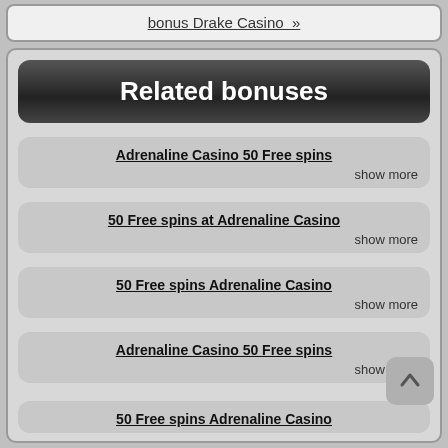bonus Drake Casino »
Related bonuses
Adrenaline Casino 50 Free spins
show more
50 Free spins at Adrenaline Casino
show more
50 Free spins Adrenaline Casino
show more
Adrenaline Casino 50 Free spins
show more
50 Free spins Adrenaline Casino